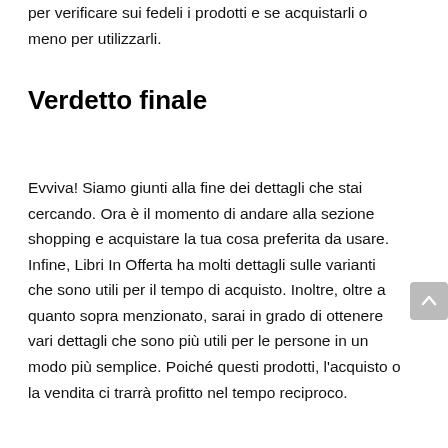per verificare sui fedeli i prodotti e se acquistarli o meno per utilizzarli.
Verdetto finale
Evviva! Siamo giunti alla fine dei dettagli che stai cercando. Ora è il momento di andare alla sezione shopping e acquistare la tua cosa preferita da usare. Infine, Libri In Offerta ha molti dettagli sulle varianti che sono utili per il tempo di acquisto. Inoltre, oltre a quanto sopra menzionato, sarai in grado di ottenere vari dettagli che sono più utili per le persone in un modo più semplice. Poiché questi prodotti, l'acquisto o la vendita ci trarrà profitto nel tempo reciproco.